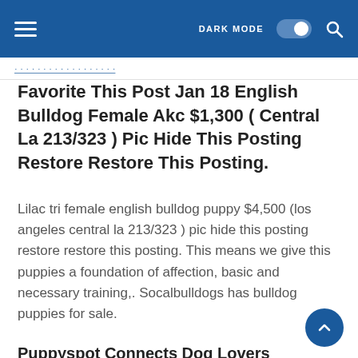DARK MODE [toggle] [search]
Favorite This Post Jan 18 English Bulldog Female Akc $1,300 ( Central La 213/323 ) Pic Hide This Posting Restore Restore This Posting.
Lilac tri female english bulldog puppy $4,500 (los angeles central la 213/323 ) pic hide this posting restore restore this posting. This means we give this puppies a foundation of affection, basic and necessary training,. Socalbulldogs has bulldog puppies for sale.
Puppyspot Connects Dog Lovers With Responsible Breeders Online.